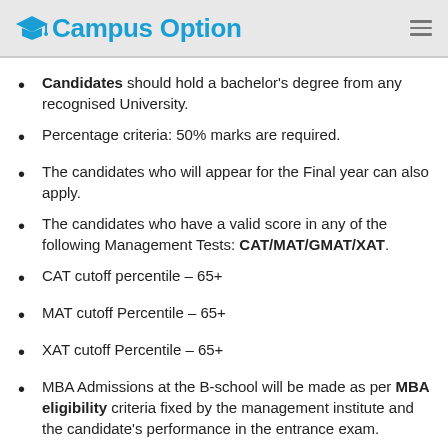Campus Option
Candidates should hold a bachelor's degree from any recognised University.
Percentage criteria: 50% marks are required.
The candidates who will appear for the Final year can also apply.
The candidates who have a valid score in any of the following Management Tests: CAT/MAT/GMAT/XAT.
CAT cutoff percentile – 65+
MAT cutoff Percentile – 65+
XAT cutoff Percentile – 65+
MBA Admissions at the B-school will be made as per MBA eligibility criteria fixed by the management institute and the candidate's performance in the entrance exam.